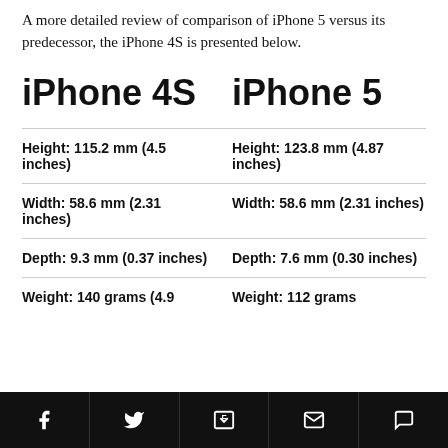A more detailed review of comparison of iPhone 5 versus its predecessor, the iPhone 4S is presented below.
| iPhone 4S | iPhone 5 |
| --- | --- |
| Height: 115.2 mm (4.5 inches) | Height: 123.8 mm (4.87 inches) |
| Width: 58.6 mm (2.31 inches) | Width: 58.6 mm (2.31 inches) |
| Depth: 9.3 mm (0.37 inches) | Depth: 7.6 mm (0.30 inches) |
| Weight: 140 grams (4.9 | Weight: 112 grams |
Social share toolbar with Facebook, Twitter, Flipboard, Email, Comment icons